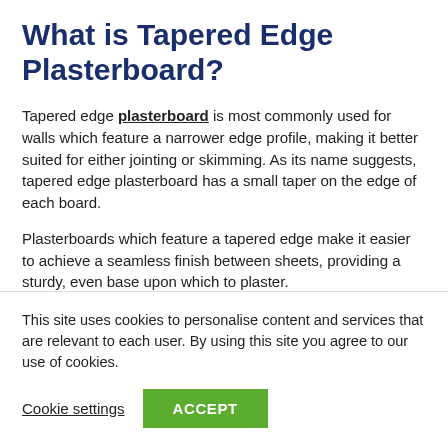What is Tapered Edge Plasterboard?
Tapered edge plasterboard is most commonly used for walls which feature a narrower edge profile, making it better suited for either jointing or skimming. As its name suggests, tapered edge plasterboard has a small taper on the edge of each board.
Plasterboards which feature a tapered edge make it easier to achieve a seamless finish between sheets, providing a sturdy, even base upon which to plaster.
This site uses cookies to personalise content and services that are relevant to each user. By using this site you agree to our use of cookies.